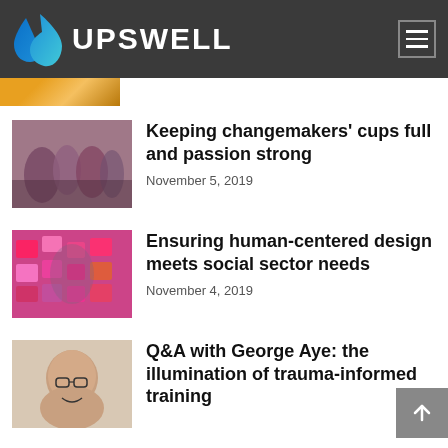UPSWELL
[Figure (photo): Partial top image strip showing yellow/orange tones]
Keeping changemakers’ cups full and passion strong
November 5, 2019
Ensuring human-centered design meets social sector needs
November 4, 2019
Q&A with George Aye: the illumination of trauma-informed training